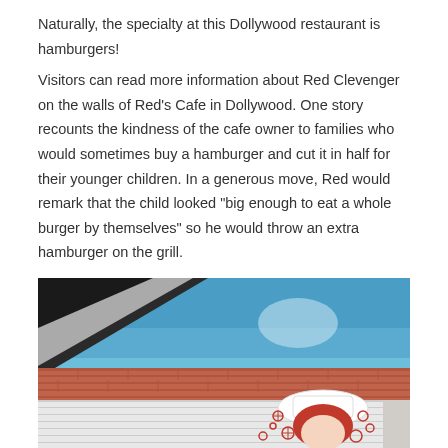Naturally, the specialty at this Dollywood restaurant is hamburgers!
Visitors can read more information about Red Clevenger on the walls of Red's Cafe in Dollywood. One story recounts the kindness of the cafe owner to families who would sometimes buy a hamburger and cut it in half for their younger children. In a generous move, Red would remark that the child looked “big enough to eat a whole burger by themselves” so he would throw an extra hamburger on the grill.
[Figure (photo): A photograph taken from a low angle showing a brick building exterior under a bright blue sky. In the upper left corner is a dark angled overhang. The building's upper portion shows red brick. Below the brick line is a painted mural on white-painted brick, featuring what appears to be a person wearing a white chef's or cook's hat with red hair visible, and decorative floral/design elements around them in red outline.]